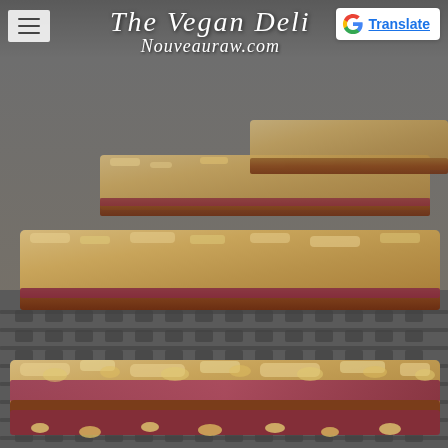[Figure (photo): Close-up photograph of raw granola/oat bars with berry filling on a mesh dehydrator tray, with a chalkboard background. Multiple rectangular bars visible, showing oats, nuts, and red berry layer.]
The Vegan Deli - Nouveauraw.com
Translate